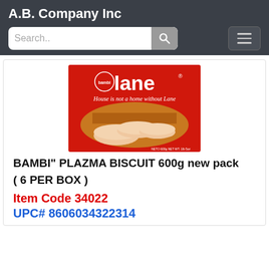A.B. Company Inc
[Figure (screenshot): Bambi Lane biscuit product box — red packaging with 'bambi lane' logo and tagline 'House is not a home without Lane', showing finger biscuits on the front. NETO 600g NET WT. 1lb 5oz.]
BAMBI" PLAZMA BISCUIT 600g new pack
( 6 PER BOX )
Item Code 34022
UPC# 8606034322314